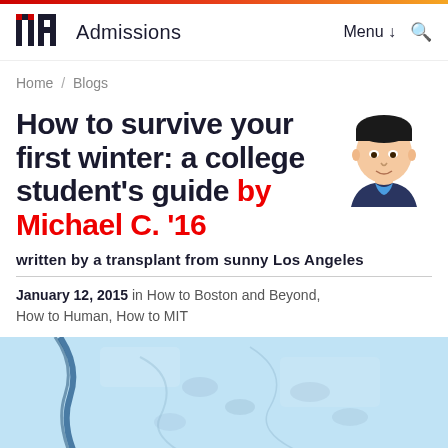MIT Admissions | Menu ↓ Q
Home / Blogs
How to survive your first winter: a college student's guide by Michael C. '16
[Figure (illustration): Hand-drawn portrait illustration of a young Asian man with black hair, wearing a dark blue hoodie]
written by a transplant from sunny Los Angeles
January 12, 2015 in How to Boston and Beyond, How to Human, How to MIT
[Figure (photo): Photo of snowy blue ice/snow surface with footprints and a dark line/crack]